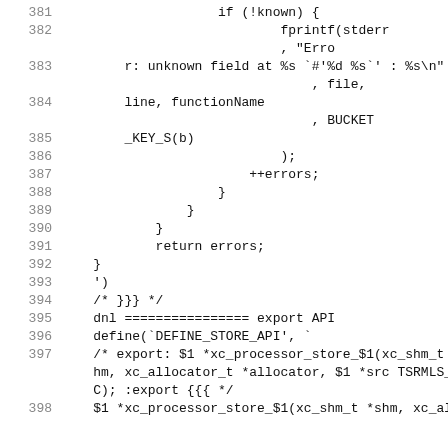[Figure (screenshot): Source code listing showing lines 381-398 of a C/macro file with line numbers on the left and code on the right in monospace font.]